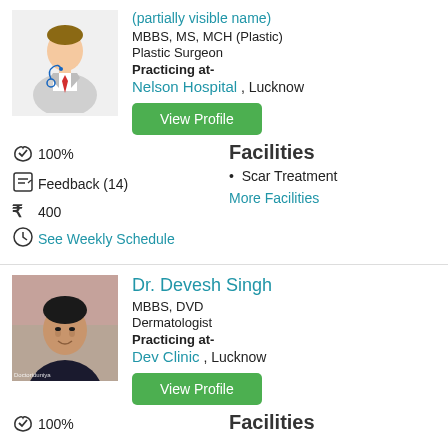[Figure (illustration): Doctor avatar illustration with stethoscope, suit, red tie]
MBBS, MS, MCH (Plastic)
Plastic Surgeon
Practicing at-
Nelson Hospital , Lucknow
View Profile
100%
Facilities
Feedback (14)
Scar Treatment
400
More Facilities
See Weekly Schedule
[Figure (photo): Photo of Dr. Devesh Singh, a man in dark clothing, with Doctoriduniya watermark]
Dr. Devesh Singh
MBBS, DVD
Dermatologist
Practicing at-
Dev Clinic , Lucknow
View Profile
100%
Facilities